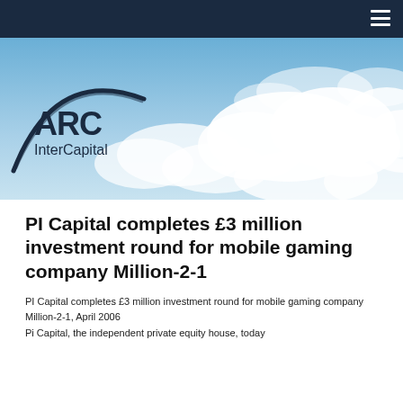[Figure (illustration): ARC InterCapital logo and sky/clouds banner header image with dark navy navigation bar and hamburger menu icon]
PI Capital completes £3 million investment round for mobile gaming company Million-2-1
PI Capital completes £3 million investment round for mobile gaming company Million-2-1, April 2006
Pi Capital, the independent private equity house, today